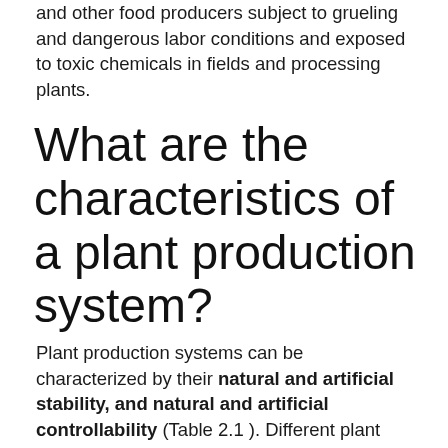and other food producers subject to grueling and dangerous labor conditions and exposed to toxic chemicals in fields and processing plants.
What are the characteristics of a plant production system?
Plant production systems can be characterized by their natural and artificial stability, and natural and artificial controllability (Table 2.1 ). Different plant production systems differing in stability and controllability are needed to